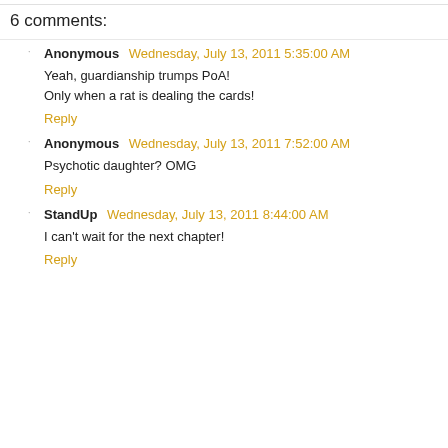6 comments:
Anonymous  Wednesday, July 13, 2011 5:35:00 AM
Yeah, guardianship trumps PoA!
Only when a rat is dealing the cards!
Reply
Anonymous  Wednesday, July 13, 2011 7:52:00 AM
Psychotic daughter? OMG
Reply
StandUp  Wednesday, July 13, 2011 8:44:00 AM
I can't wait for the next chapter!
Reply